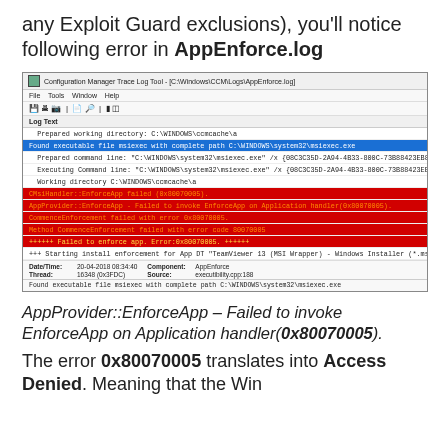any Exploit Guard exclusions), you'll notice following error in AppEnforce.log
[Figure (screenshot): Configuration Manager Trace Log Tool showing AppEnforce.log with blue highlighted row 'Found executable file msiexec with complete path C:\WINDOWS\system32\msiexec.exe' and red section showing errors: CMsiHandler::EnforceApp failed (0x80070005), AppProvider::EnforceApp - Failed to invoke EnforceApp on Application handler(0x80070005), CommenceEnforcement failed with error 0x80070005, Method CommenceEnforcement failed with error code 80070005, ++++++ Failed to enforce app. Error:0x80070005. ++++++]
AppProvider::EnforceApp – Failed to invoke EnforceApp on Application handler(0x80070005).
The error 0x80070005 translates into Access Denied. Meaning that the Win...